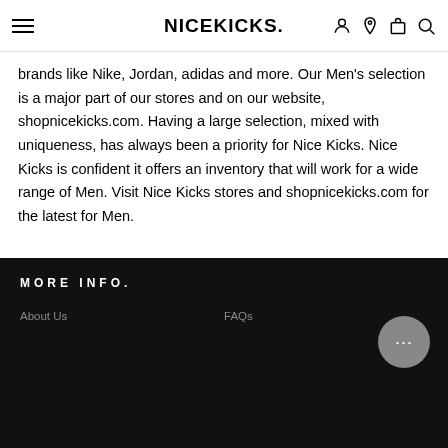NICEKICKS.
brands like Nike, Jordan, adidas and more. Our Men's selection is a major part of our stores and on our website, shopnicekicks.com. Having a large selection, mixed with uniqueness, has always been a priority for Nice Kicks. Nice Kicks is confident it offers an inventory that will work for a wide range of Men. Visit Nice Kicks stores and shopnicekicks.com for the latest for Men.
RELATED COLLECTIONS
Men's Footwear | Men's Apparel | Men's Sale | Accessories | Hats | Nike | Jordan | adidas | New Balance
MORE INFO.
About Us
FAQs